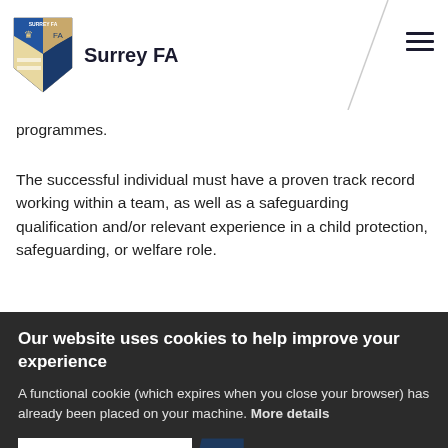Surrey FA
programmes.
The successful individual must have a proven track record working within a team, as well as a safeguarding qualification and/or relevant experience in a child protection, safeguarding, or welfare role.
Our website uses cookies to help improve your experience
A functional cookie (which expires when you close your browser) has already been placed on your machine. More details